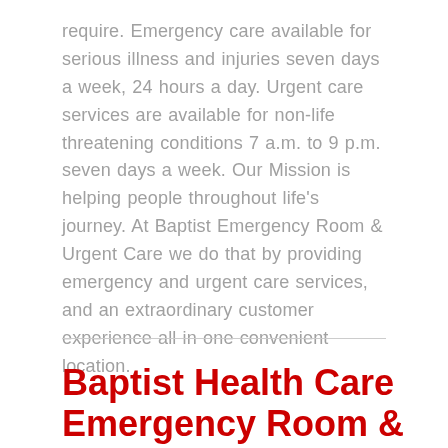require. Emergency care available for serious illness and injuries seven days a week, 24 hours a day. Urgent care services are available for non-life threatening conditions 7 a.m. to 9 p.m. seven days a week. Our Mission is helping people throughout life's journey. At Baptist Emergency Room & Urgent Care we do that by providing emergency and urgent care services, and an extraordinary customer experience all in one convenient location.
Baptist Health Care Emergency Room &